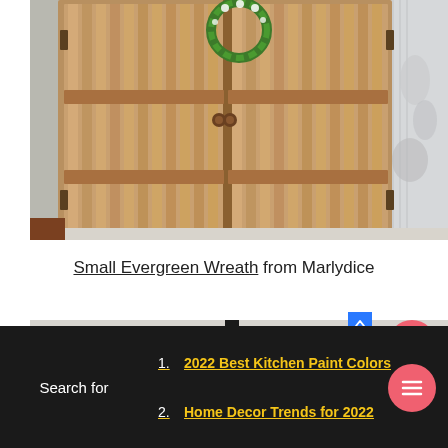[Figure (photo): Rustic wooden double doors with vertical planks and a small green wreath hanging between them, set in an interior room with white walls and a patterned blanket visible on the right.]
Small Evergreen Wreath from Marlydice
[Figure (photo): Partial view of a black lamp or furniture piece against a light background.]
2022 Best Kitchen Paint Colors
Home Decor Trends for 2022
Search for